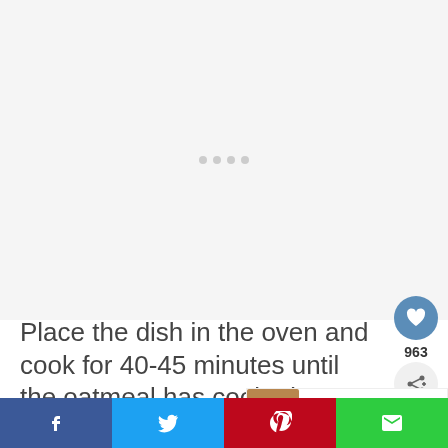[Figure (photo): Large light gray placeholder image area with loading dots in center]
Place the dish in the oven and cook for 40-45 minutes until the oatmeal has cooked, puffed up and the inside
[Figure (infographic): What's Next banner showing Cinnamon Chip Apple... with thumbnail]
[Figure (infographic): Social share bar with Facebook, Twitter, Pinterest and Email buttons]